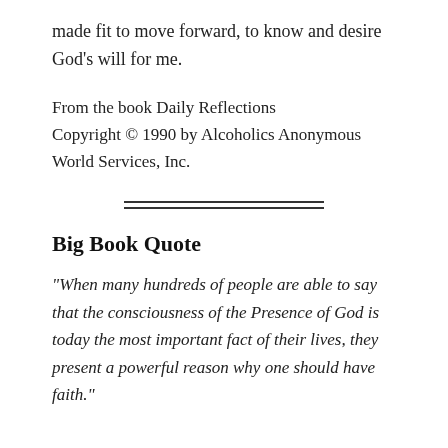made fit to move forward, to know and desire God's will for me.
From the book Daily Reflections
Copyright © 1990 by Alcoholics Anonymous World Services, Inc.
[Figure (other): Double horizontal rule divider]
Big Book Quote
“When many hundreds of people are able to say that the consciousness of the Presence of God is today the most important fact of their lives, they present a powerful reason why one should have faith.”